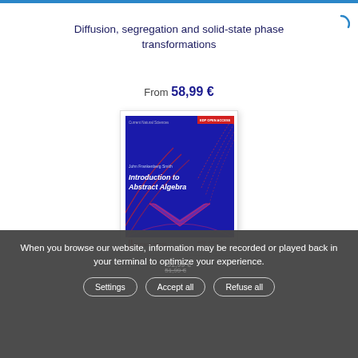Diffusion, segregation and solid-state phase transformations
From 58,99 €
[Figure (illustration): Book cover for 'Introduction to Abstract Algebra' with blue background, red decorative geometric shapes, EDP Sciences and Science Press logos at bottom.]
When you browse our website, information may be recorded or played back in your terminal to optimize your experience.
Settings
Accept all
Refuse all